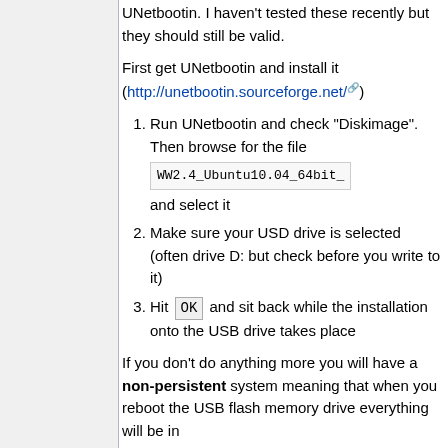UNetbootin. I haven't tested these recently but they should still be valid.
First get UNetbootin and install it (http://unetbootin.sourceforge.net/)
1. Run UNetbootin and check "Diskimage". Then browse for the file WW2.4_Ubuntu10.04_64bit_ and select it
2. Make sure your USD drive is selected (often drive D: but check before you write to it)
3. Hit OK and sit back while the installation onto the USB drive takes place
If you don't do anything more you will have a non-persistent system meaning that when you reboot the USB flash memory drive everything will be in